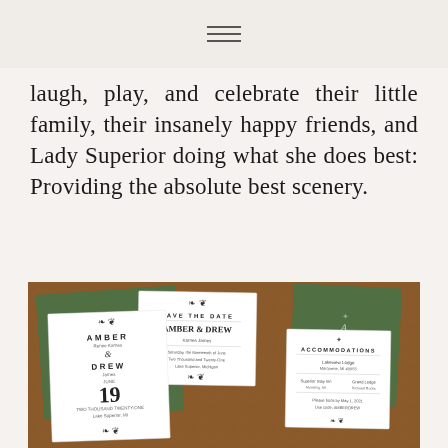laugh, play, and celebrate their little family, their insanely happy friends, and Lady Superior doing what she does best: Providing the absolute best scenery.
[Figure (photo): Flat lay photograph of wedding stationery suite including Save the Date card, main invitation, and accommodations card arranged on a brown leather surface with green vellum envelope liners featuring A and D monograms.]